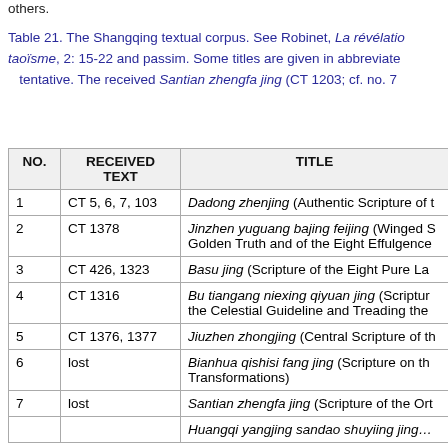others.
Table 21. The Shangqing textual corpus. See Robinet, La révélation... taoïsme, 2: 15-22 and passim. Some titles are given in abbreviated... tentative. The received Santian zhengfa jing (CT 1203; cf. no. 7...
| NO. | RECEIVED TEXT | TITLE |
| --- | --- | --- |
| 1 | CT 5, 6, 7, 103 | Dadong zhenjing (Authentic Scripture of t… |
| 2 | CT 1378 | Jinzhen yuguang bajing feijing (Winged S… Golden Truth and of the Eight Effulgence… |
| 3 | CT 426, 1323 | Basu jing (Scripture of the Eight Pure La… |
| 4 | CT 1316 | Bu tiangang niexing qiyuan jing (Scripture… the Celestial Guideline and Treading the… |
| 5 | CT 1376, 1377 | Jiuzhen zhongjing (Central Scripture of th… |
| 6 | lost | Bianhua qishisi fang jing (Scripture on th… Transformations) |
| 7 | lost | Santian zhengfa jing (Scripture of the Ort… |
| 8 |  | Huangqi yangijng sandao shuyiing jing… |